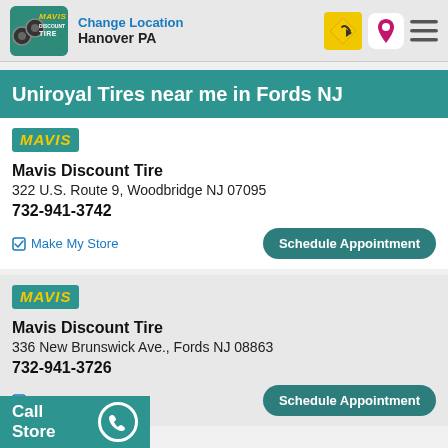Change Location Hanover PA
Uniroyal Tires near me in Fords NJ
Mavis Discount Tire
322 U.S. Route 9, Woodbridge NJ 07095
732-941-3742
Make My Store | Schedule Appointment
Mavis Discount Tire
336 New Brunswick Ave., Fords NJ 08863
732-941-3726
Make My Store | Schedule Appointment
Call Store